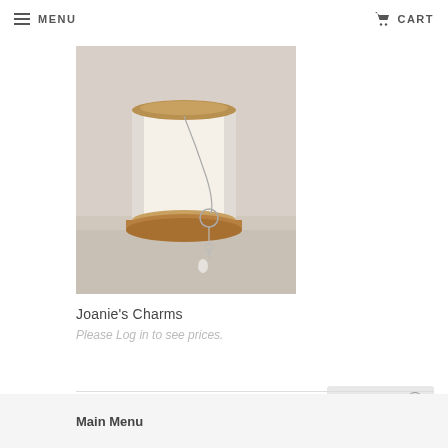MENU   CART
[Figure (photo): A necklace with a circular pendant and key charm draped over a wooden spool on a white surface]
Joanie's Charms
Please Log in to see prices.
Back To Top
Main Menu